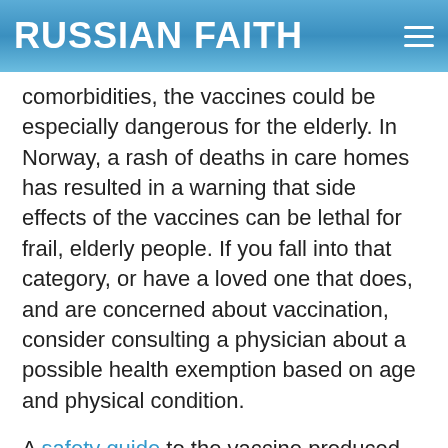RUSSIAN FAITH
comorbidities, the vaccines could be especially dangerous for the elderly. In Norway, a rash of deaths in care homes has resulted in a warning that side effects of the vaccines can be lethal for frail, elderly people. If you fall into that category, or have a loved one that does, and are concerned about vaccination, consider consulting a physician about a possible health exemption based on age and physical condition.
A safety guide to the vaccine produced by the UK government warns that pregnant or lactating women should avoid vaccination, and that pregnancy should be avoided for at least two months after the second dose. The guide also